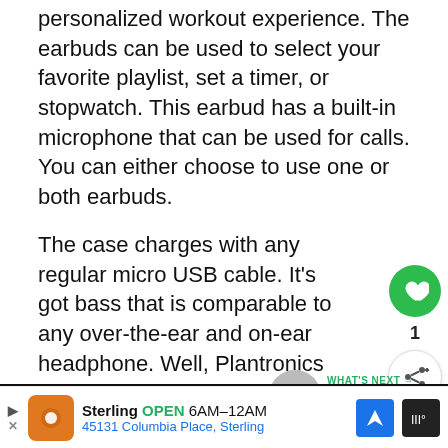personalized workout experience. The earbuds can be used to select your favorite playlist, set a timer, or stopwatch. This earbud has a built-in microphone that can be used for calls. You can either choose to use one or both earbuds.
The case charges with any regular micro USB cable. It's got bass that is comparable to any over-the-ear and on-ear headphone. Well, Plantronics has an excellent reputation for delivering quality and they did with the BackBeat FIT 3150.
JLab Audio Jbuds Air – Best
[Figure (other): Green circular heart/favorite button (FAB), share button, and What's Next promo box with earbuds image linking to '6 Best True Wireless...']
Ad: Sterling OPEN 6AM–12AM, 45131 Columbia Place, Sterling